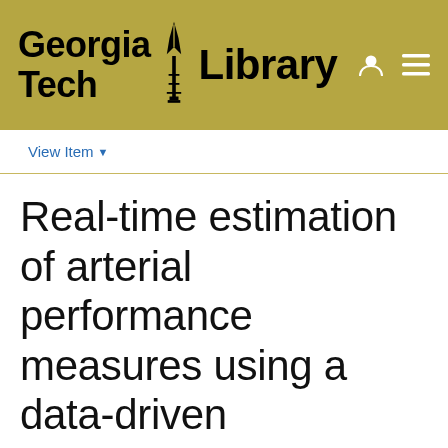[Figure (logo): Georgia Tech Library logo on gold/khaki background with torch icon between 'Georgia Tech' and 'Library' text, plus user and menu icons top right]
View Item ▾
Real-time estimation of arterial performance measures using a data-driven microscopic traffic simulation technique
View/Open